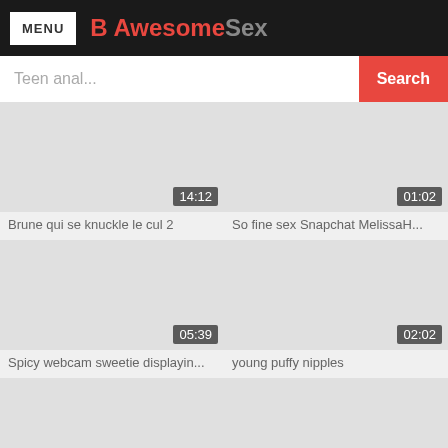MENU | B AwesomeSex
Teen anal... Search
[Figure (screenshot): Video thumbnail with duration 14:12 - Brune qui se knuckle le cul 2]
Brune qui se knuckle le cul 2
[Figure (screenshot): Video thumbnail with duration 01:02 - So fine sex Snapchat MelissaH...]
So fine sex Snapchat MelissaH...
[Figure (screenshot): Video thumbnail with duration 05:39 - Spicy webcam sweetie displayin...]
Spicy webcam sweetie displayin...
[Figure (screenshot): Video thumbnail with duration 02:02 - young puffy nipples]
young puffy nipples
[Figure (screenshot): Video thumbnail with duration 06:53 - Large fat Ass MILF PAWG Web...]
Large fat Ass MILF PAWG Web...
[Figure (screenshot): Video thumbnail with duration 24:57 - Softcore Nudes 528 1960s Sce...]
Softcore Nudes 528 1960s Sce...